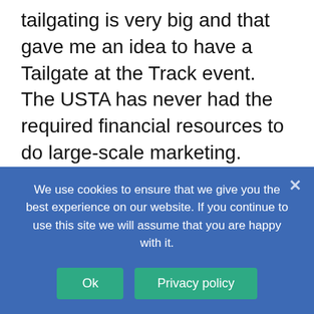tailgating is very big and that gave me an idea to have a Tailgate at the Track event. The USTA has never had the required financial resources to do large-scale marketing. When you take that into consideration they have done an excellent job in promoting the sport with the limited amount of resources available to them. After we fix our product, we need a national commercial promoting our sport in the targeted markets of our country that have harness racing. We also need to have our Hambletonian as our flagship race on a network broadcast station such as NBC, CBS, ABC or FOX. Other races that need to
We use cookies to ensure that we give you the best experience on our website. If you continue to use this site we will assume that you are happy with it.
Ok   Privacy policy